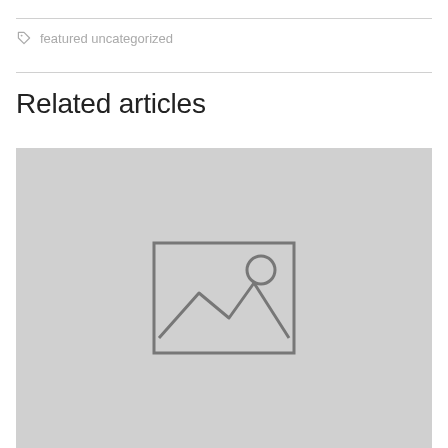featured uncategorized
Related articles
[Figure (illustration): Placeholder image with a grey background and a generic image icon (rectangle outline with a sun circle and mountain peaks inside)]